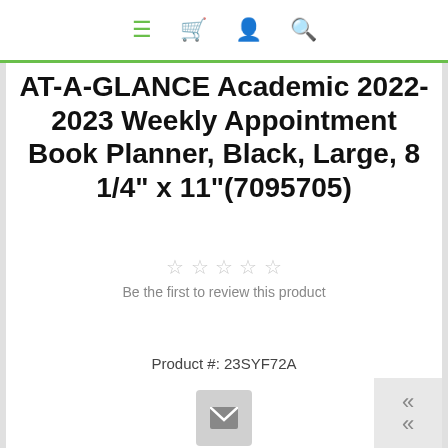Navigation bar with menu, cart, account, and search icons
AT-A-GLANCE Academic 2022-2023 Weekly Appointment Book Planner, Black, Large, 8 1/4" x 11"(7095705)
[Figure (infographic): Five empty star rating icons]
Be the first to review this product
Product #: 23SYF72A
[Figure (infographic): Email/envelope icon button (gray square with white envelope)]
[Figure (infographic): Social share buttons: Twitter (blue), Facebook (dark blue), Pinterest (red)]